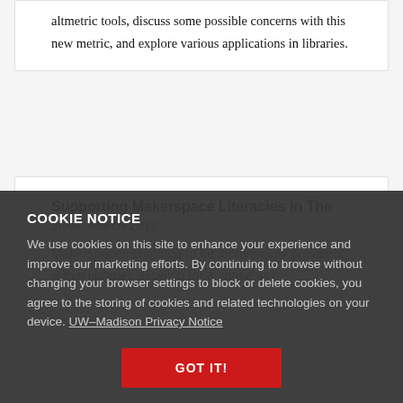altmetric tools, discuss some possible concerns with this new metric, and explore various applications in libraries.
Supporting Makerspace Literacies In The
July – March 2016
COOKIE NOTICE
We use cookies on this site to enhance your experience and improve our marketing efforts. By continuing to browse without changing your browser settings to block or delete cookies, you agree to the storing of cookies and related technologies on your device. UW–Madison Privacy Notice
GOT IT!
Makerspaces con... the increasingly prevalent within libraries allowing for a space to